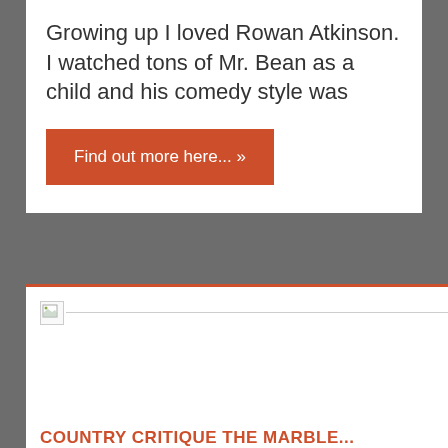Growing up I loved Rowan Atkinson. I watched tons of Mr. Bean as a child and his comedy style was
Find out more here... »
[Figure (photo): Broken/unloaded image placeholder with a small icon and a horizontal line extending to the right]